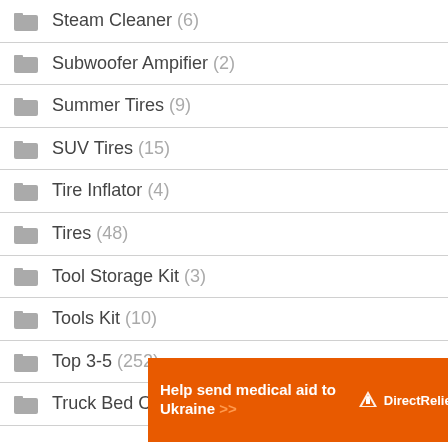Steam Cleaner (6)
Subwoofer Ampifier (2)
Summer Tires (9)
SUV Tires (15)
Tire Inflator (4)
Tires (48)
Tool Storage Kit (3)
Tools Kit (10)
Top 3-5 (252)
Truck Bed Covers (5)
[Figure (infographic): Orange advertisement banner for Direct Relief: 'Help send medical aid to Ukraine >>' with Direct Relief logo on right]